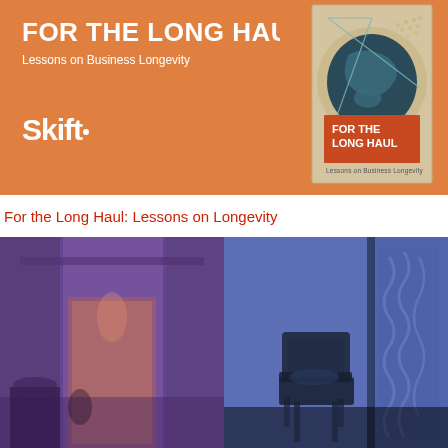FOR THE LONG HAUL
Lessons on Business Longevity
[Figure (logo): Skift logo in white text on orange background]
[Figure (illustration): Book cover showing globe with geometric lines, titled FOR THE LONG HAUL, Lessons on Business Longevity]
For the Long Haul: Lessons on Longevity
[Figure (photo): Two hotel room interior photos side by side with purple/blue tinted overlays. Left: warm purple-toned luxury room. Right: blue-toned room with ornate chair and decorative wall panel.]